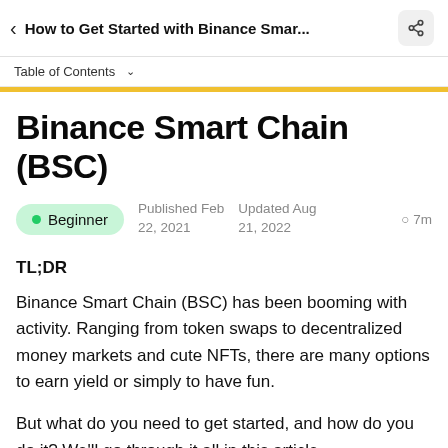How to Get Started with Binance Smar...
Table of Contents
Binance Smart Chain (BSC)
Beginner · Published Feb 22, 2021 · Updated Aug 21, 2022 · 7m
TL;DR
Binance Smart Chain (BSC) has been booming with activity. Ranging from token swaps to decentralized money markets and cute NFTs, there are many options to earn yield or simply to have fun.
But what do you need to get started, and how do you do it? We'll go through it all in this article.